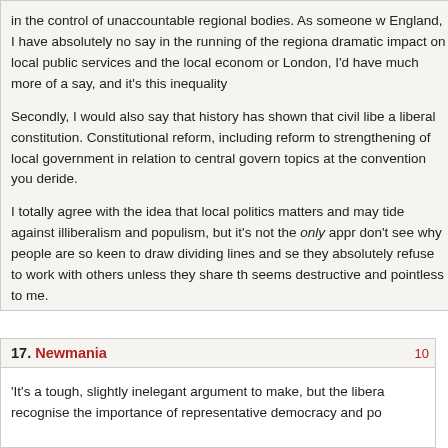in the control of unaccountable regional bodies. As someone w England, I have absolutely no say in the running of the regiona dramatic impact on local public services and the local econom or London, I'd have much more of a say, and it's this inequality
Secondly, I would also say that history has shown that civil libe a liberal constitution. Constitutional reform, including reform to strengthening of local government in relation to central govern topics at the convention you deride.
I totally agree with the idea that local politics matters and may tide against illiberalism and populism, but it's not the only appr don't see why people are so keen to draw dividing lines and se they absolutely refuse to work with others unless they share th seems destructive and pointless to me.
17. Newmania
'It's a tough, slightly inelegant argument to make, but the libera recognise the importance of representative democracy and po